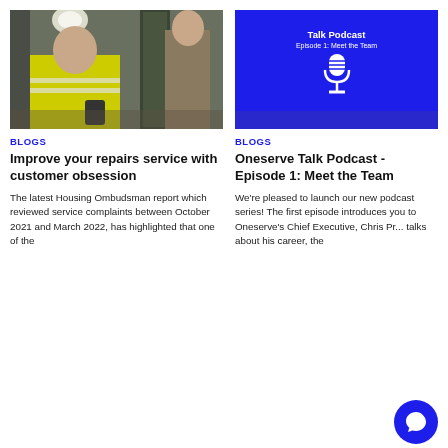[Figure (photo): Photo of a worker in hi-vis jacket at a doorway greeting a resident]
[Figure (illustration): Blue podcast card with microphone icon, title: Talk Podcast Episode 1: Meet the Team]
BLOGS
Improve your repairs service with customer obsession
The latest Housing Ombudsman report which reviewed service complaints between October 2021 and March 2022, has highlighted that one of the
BLOGS
Oneserve Talk Podcast - Episode 1: Meet the Team
We're pleased to launch our new podcast series! The first episode introduces you to Oneserve's Chief Executive, Chris Pr... talks about his career, the